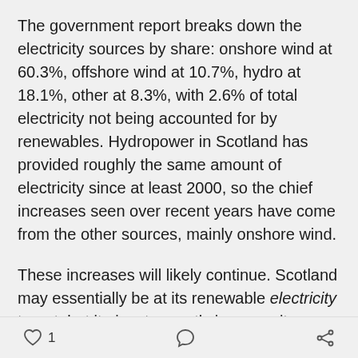The government report breaks down the electricity sources by share: onshore wind at 60.3%, offshore wind at 10.7%, hydro at 18.1%, other at 8.3%, with 2.6% of total electricity not being accounted for by renewables. Hydropower in Scotland has provided roughly the same amount of electricity since at least 2000, so the chief increases seen over recent years have come from the other sources, mainly onshore wind.
These increases will likely continue. Scotland may essentially be at its renewable electricity target, but it aims to greatly increase its renewable energy consumption, too. Along with an overall goal of not
♡ 1   speech-bubble   share